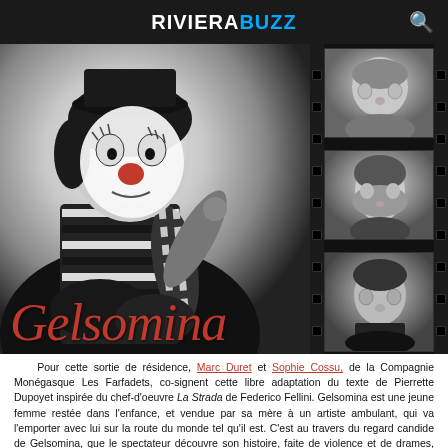RIVIERA BUZZ
[Figure (photo): Black and white promotional photo for 'Gelsomina' theatrical production. Left side: a woman dressed as a clown with white face paint, red nose, black hat, and striped black-and-white long-sleeve shirt, posed sitting. Right side: a film strip showing three black-and-white portrait photos — top: an elderly man, middle: a woman, bottom: a young man. Overlaid in red cursive text at the bottom: 'Gelsomina'.]
Pour cette sortie de résidence, Marc Duret et Sophie Cossu, de la Compagnie Monégasque Les Farfadets, co-signent cette libre adaptation du texte de Pierrette Dupoyet inspirée du chef-d'oeuvre La Strada de Federico Fellini. Gelsomina est une jeune femme restée dans l'enfance, et vendue par sa mère à un artiste ambulant, qui va l'emporter avec lui sur la route du monde tel qu'il est. C'est au travers du regard candide de Gelsomina, que le spectateur découvre son histoire, faite de violence et de drames, mais aussi de drôlerie, d'émerveillement et de poésie. Entre théâtre et cinéma, Gelsomina est une route vers l'espoir.